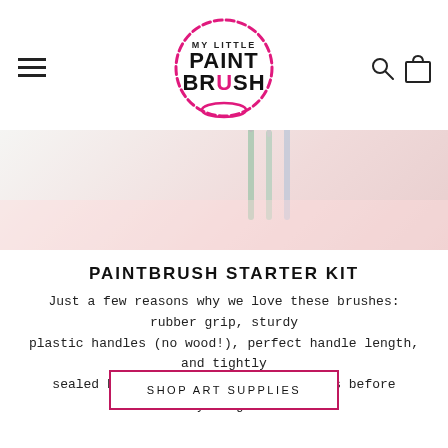My Little Paint Brush — navigation header with logo, hamburger menu, search and cart icons
[Figure (photo): Partial hero image showing paint brushes on a light pink/white background]
PAINTBRUSH STARTER KIT
Just a few reasons why we love these brushes: rubber grip, sturdy plastic handles (no wood!), perfect handle length, and tightly sealed bristles. Snag these favorites before they're gone!
SHOP ART SUPPLIES